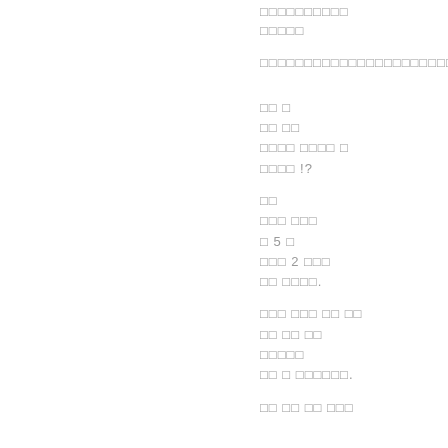□□□□□□□□□□
□□□□□
□□□□□□□□□□□□□□□□□□□□□□□□
□□ □
□□ □□
□□□□ □□□□ □
□□□□ !?
□□
□□□ □□□
□ 5 □
□□□ 2 □□□
□□ □□□□.
□□□ □□□ □□ □□
□□ □□ □□
□□□□□
□□ □ □□□□□□.
□□ □□ □□ □□□